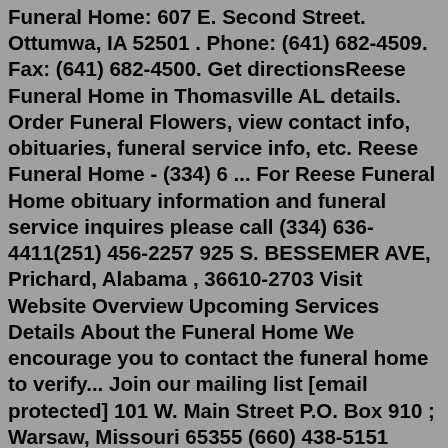Funeral Home: 607 E. Second Street. Ottumwa, IA 52501 . Phone: (641) 682-4509. Fax: (641) 682-4500. Get directionsReese Funeral Home in Thomasville AL details. Order Funeral Flowers, view contact info, obituaries, funeral service info, etc. Reese Funeral Home - (334) 6 ... For Reese Funeral Home obituary information and funeral service inquires please call (334) 636-4411(251) 456-2257 925 S. BESSEMER AVE, Prichard, Alabama , 36610-2703 Visit Website Overview Upcoming Services Details About the Funeral Home We encourage you to contact the funeral home to verify... Join our mailing list [email protected] 101 W. Main Street P.O. Box 910 ; Warsaw, Missouri 65355 (660) 438-5151 (660) 438-6910 Obituaries from Reese Funeral Homes in Prichard, Alabama. Offer condolences/tributes, send flowers or create an online memorial for free. ... Reese Funeral Home 925 S Bessemer Ave, Prichard, AL 251-456-2257 Send flowers. Obituaries of Reese Funeral Homes. Cheryl Jiles July 20, 2022 (56 years old)Reese Funeral Home in Thomasville 510 Noble Ave W